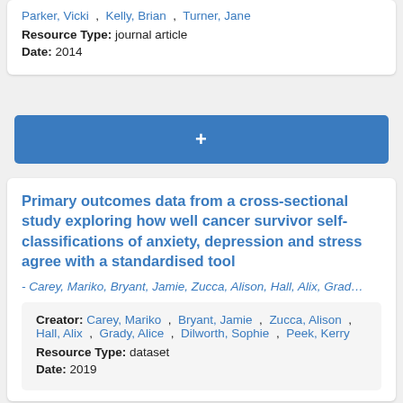Parker, Vicki , Kelly, Brian , Turner, Jane
Resource Type: journal article
Date: 2014
+
Primary outcomes data from a cross-sectional study exploring how well cancer survivor self-classifications of anxiety, depression and stress agree with a standardised tool
- Carey, Mariko, Bryant, Jamie, Zucca, Alison, Hall, Alix, Grad…
Creator: Carey, Mariko , Bryant, Jamie , Zucca, Alison , Hall, Alix , Grady, Alice , Dilworth, Sophie , Peek, Kerry
Resource Type: dataset
Date: 2019